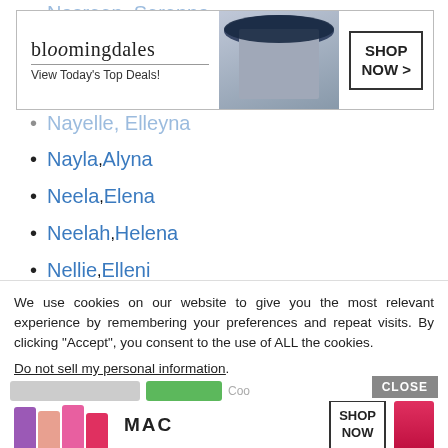Nasreen, Serenna
[Figure (other): Bloomingdale's advertisement banner: logo, 'View Today's Top Deals!', woman in hat, SHOP NOW button]
Nayelle, Elleyna
Nayla, Alyna
Neela, Elena
Neelah, Helena
Nellie, Elleni
Nevaan, Evanna
Neylan, Elynna
Nihaan, Hannia
We use cookies on our website to give you the most relevant experience by remembering your preferences and repeat visits. By clicking “Accept”, you consent to the use of ALL the cookies.
Do not sell my personal information.
[Figure (other): MAC cosmetics advertisement banner: colorful lipsticks, MAC logo, SHOP NOW button]